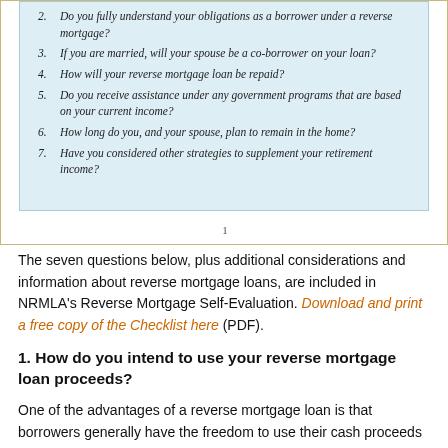2. Do you fully understand your obligations as a borrower under a reverse mortgage?
3. If you are married, will your spouse be a co-borrower on your loan?
4. How will your reverse mortgage loan be repaid?
5. Do you receive assistance under any government programs that are based on your current income?
6. How long do you, and your spouse, plan to remain in the home?
7. Have you considered other strategies to supplement your retirement income?
1
The seven questions below, plus additional considerations and information about reverse mortgage loans, are included in NRMLA's Reverse Mortgage Self-Evaluation. Download and print a free copy of the Checklist here (PDF).
1. How do you intend to use your reverse mortgage loan proceeds?
One of the advantages of a reverse mortgage loan is that borrowers generally have the freedom to use their cash proceeds any way they choose. Eligible homeowners obtain